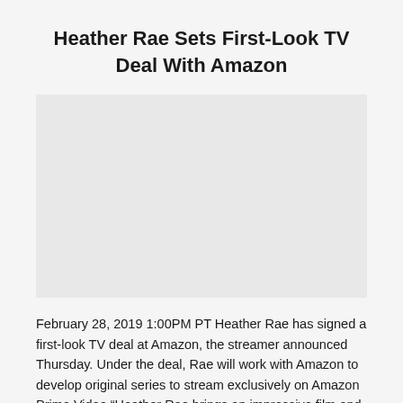Heather Rae Sets First-Look TV Deal With Amazon
[Figure (photo): Image placeholder / advertisement area (gray background)]
February 28, 2019 1:00PM PT Heather Rae has signed a first-look TV deal at Amazon, the streamer announced Thursday. Under the deal, Rae will work with Amazon to develop original series to stream exclusively on Amazon Prime Video “Heather Rae brings an impressive film and documentary pedigree along with her passion and advocacy to showcase